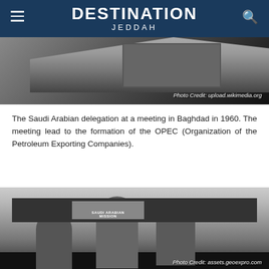DESTINATION JEDDAH
[Figure (photo): Black and white landscape photo with a building/shed structure visible. Photo credit: upload.wikimedia.org]
Photo Credit: upload.wikimedia.org
The Saudi Arabian delegation at a meeting in Baghdad in 1960. The meeting lead to the formation of the OPEC (Organization of the Petroleum Exporting Companies).
[Figure (photo): Black and white photograph of the Saudi Arabian delegation at a meeting in Baghdad, 1960. Several men in suits visible around a conference table with a nameplate reading SAUDI ARABIAN MISSION. Photo credit: assets.geoexpro.com]
Photo Credit: assets.geoexpro.com